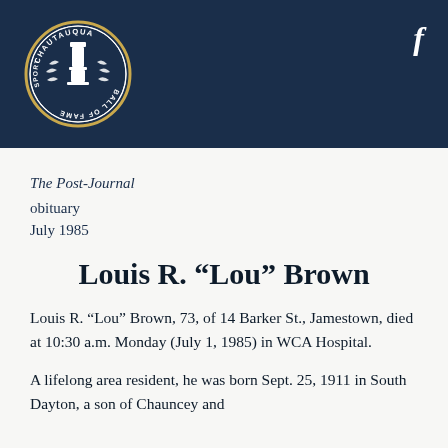[Figure (logo): Chautauqua Sports Ball of Fame circular seal/logo with lighthouse tower emblem, laurel wreath, in navy blue and gold on dark navy header background]
The Post-Journal
obituary
July 1985
Louis R. “Lou” Brown
Louis R. “Lou” Brown, 73, of 14 Barker St., Jamestown, died at 10:30 a.m. Monday (July 1, 1985) in WCA Hospital.
A lifelong area resident, he was born Sept. 25, 1911 in South Dayton, a son of Chauncey and